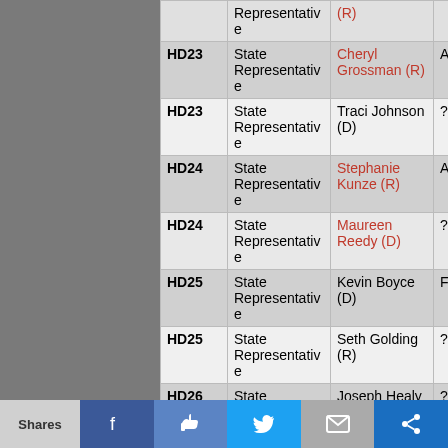| District | Office | Candidate | Grade | Endorsement |
| --- | --- | --- | --- | --- |
|  | State Representative | (R) |  | ENDOR... |
| HD23 | State Representative | Cheryl Grossman (R) | A | ENDOR... |
| HD23 | State Representative | Traci Johnson (D) | ?? |  |
| HD24 | State Representative | Stephanie Kunze (R) | Aq | ENDOR... |
| HD24 | State Representative | Maureen Reedy (D) | ?? |  |
| HD25 | State Representative | Kevin Boyce (D) | F |  |
| HD25 | State Representative | Seth Golding (R) | ?? |  |
| HD26 | State Representative | Joseph Healy (R) | ?? |  |
| HD26 | State | Tracy Heard | F |  |
Shares | Facebook | Like | Twitter | Email | Share